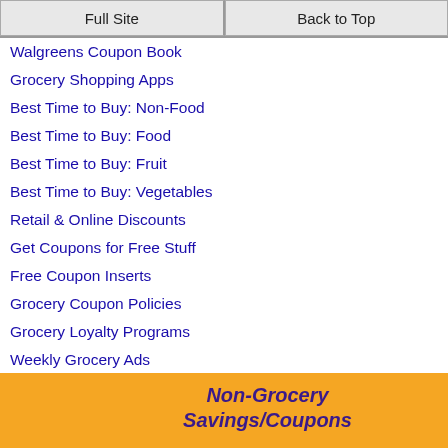Full Site | Back to Top
Walgreens Coupon Book
Grocery Shopping Apps
Best Time to Buy: Non-Food
Best Time to Buy: Food
Best Time to Buy: Fruit
Best Time to Buy: Vegetables
Retail & Online Discounts
Get Coupons for Free Stuff
Free Coupon Inserts
Grocery Coupon Policies
Grocery Loyalty Programs
Weekly Grocery Ads
Expired Coupons for Military
2021 Coupon Insert Schedule
Non-Grocery Savings/Coupons
PROGRAM
Join Huggies Rewards+ Get 3500 Bonus Points and redeem for a Free Amazon Gift Card! Get Rewards on Diaper and Grocery Purchases! (For expectant Mothers, Mothers with Babies, & Prenatal - 6 mo.) Join Now - It's Free!
SPOTLIGHT